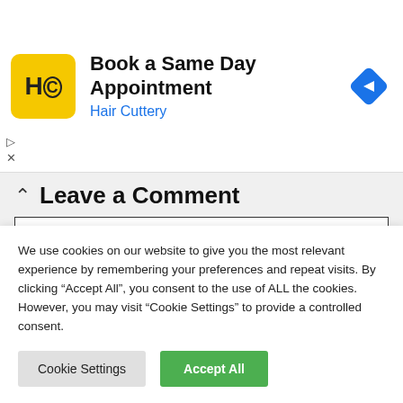[Figure (other): Hair Cuttery advertisement banner: yellow logo with HC initials, headline 'Book a Same Day Appointment', subtext 'Hair Cuttery', blue navigation diamond icon, and ad control icons (play and close).]
Leave a Comment
We use cookies on our website to give you the most relevant experience by remembering your preferences and repeat visits. By clicking “Accept All”, you consent to the use of ALL the cookies. However, you may visit “Cookie Settings” to provide a controlled consent.
Cookie Settings
Accept All